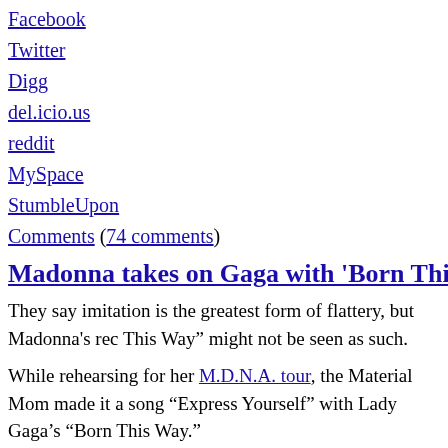Facebook
Twitter
Digg
del.icio.us
reddit
MySpace
StumbleUpon
Comments (74 comments)
Madonna takes on Gaga with 'Born This W
They say imitation is the greatest form of flattery, but Madonna's rec This Way" might not be seen as such.
While rehearsing for her M.D.N.A. tour, the Material Mom made it a song “Express Yourself” with Lady Gaga’s “Born This Way.”
[youtube http://www.youtube.com/watch?v=ToQnu34QygU&w=420
When Gaga first dropped the single, music fans were quick to point o two tracks, something that hasn't been lost on Madge.
FULL POST
Post by: Tomika Anderson -- Special to CNN